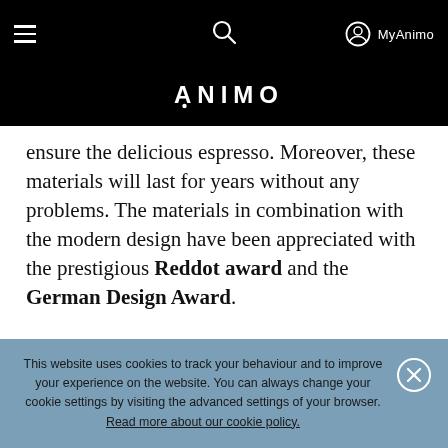ANIMO — navigation bar with hamburger menu, search icon, and MyAnimo link
ensure the delicious espresso. Moreover, these materials will last for years without any problems. The materials in combination with the modern design have been appreciated with the prestigious Reddot award and the German Design Award.
This website uses cookies to track your behaviour and to improve your experience on the website. You can always change your cookie settings by visiting the advanced settings of your browser. Read more about our cookie policy.